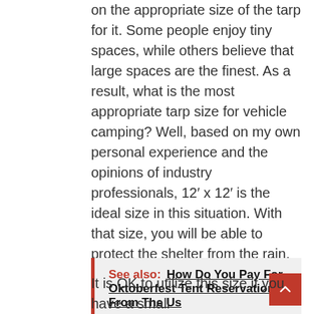on the appropriate size of the tarp for it. Some people enjoy tiny spaces, while others believe that large spaces are the finest. As a result, what is the most appropriate tarp size for vehicle camping? Well, based on my own personal experience and the opinions of industry professionals, 12′ x 12′ is the ideal size in this situation. With that size, you will be able to protect the shelter from the rain, a picnic table, or an empty room from the elements.
See also:  How Do You Pay For Oktoberfest Tent Reservations From The Us
It is OK to utilize this size if you have a small